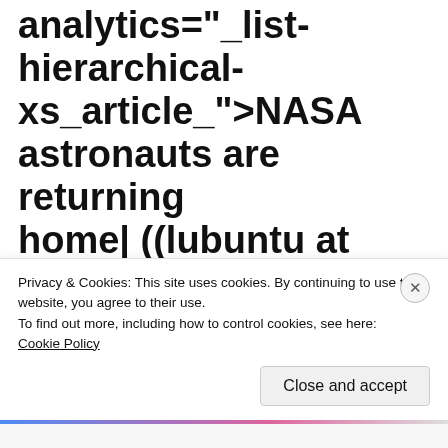size-char-35" data-analytics="_list-hierarchical-xs_article_">NASA astronauts are returning home| ((lubuntu at wor3)))
|| screaming-banner-text banner-text-size-char-35" data-analytics="  list-hierarchical-
Privacy & Cookies: This site uses cookies. By continuing to use this website, you agree to their use.
To find out more, including how to control cookies, see here:
Cookie Policy
Close and accept